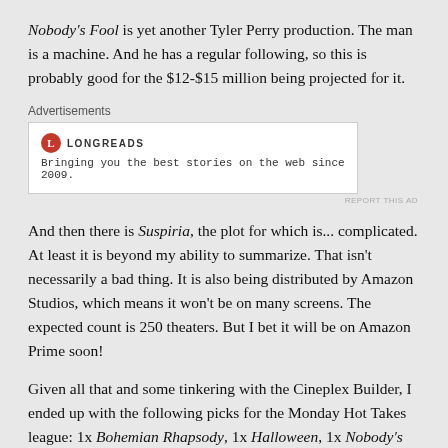Nobody's Fool is yet another Tyler Perry production.  The man is a machine.  And he has a regular following, so this is probably good for the $12-$15 million being projected for it.
[Figure (other): Advertisement box for Longreads website with logo and tagline: Bringing you the best stories on the web since 2009.]
And then there is Suspiria, the plot for which is... complicated.  At least it is beyond my ability to summarize.  That isn't necessarily a bad thing.  It is also being distributed by Amazon Studios, which means it won't be on many screens.  The expected count is 250 theaters.  But I bet it will be on Amazon Prime soon!
Given all that and some tinkering with the Cineplex Builder, I ended up with the following picks for the Monday Hot Takes league: 1x Bohemian Rhapsody, 1x Halloween, 1x Nobody's